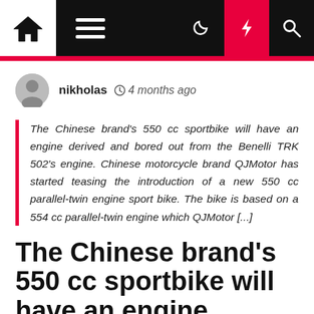Navigation bar with home, menu, moon, lightning, search icons
nikholas  4 months ago
The Chinese brand's 550 cc sportbike will have an engine derived and bored out from the Benelli TRK 502's engine. Chinese motorcycle brand QJMotor has started teasing the introduction of a new 550 cc parallel-twin engine sport bike. The bike is based on a 554 cc parallel-twin engine which QJMotor [...]
The Chinese brand's 550 cc sportbike will have an engine derived and bored out from the Benelli TRK 502's engine.